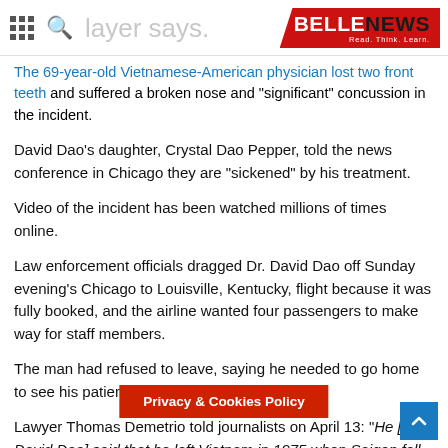layer says. BELLENEWS Read. Think. Learn.
The 69-year-old Vietnamese-American physician lost two front teeth and suffered a broken nose and "significant" concussion in the incident.
David Dao's daughter, Crystal Dao Pepper, told the news conference in Chicago they are "sickened" by his treatment.
Video of the incident has been watched millions of times online.
Law enforcement officials dragged Dr. David Dao off Sunday evening's Chicago to Louisville, Kentucky, flight because it was fully booked, and the airline wanted four passengers to make way for staff members.
The man had refused to leave, saying he needed to go home to see his patients.
Lawyer Thomas Demetrio told journalists on April 13: “He [Dr. David Dao] said that he left Vietnam in 1975 when Saigon fell and he was on a boat and he said he was terrified
Privacy & Cookies Policy